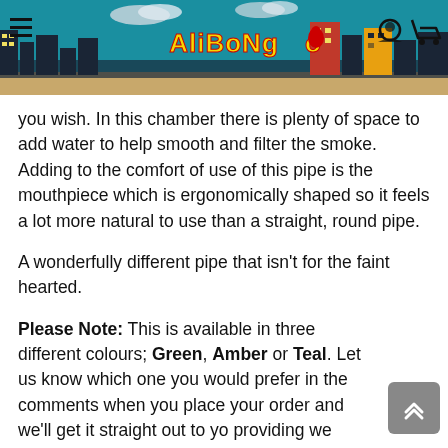Ali Bongo header with navigation icons
you wish. In this chamber there is plenty of space to add water to help smooth and filter the smoke. Adding to the comfort of use of this pipe is the mouthpiece which is ergonomically shaped so it feels a lot more natural to use than a straight, round pipe.
A wonderfully different pipe that isn't for the faint hearted.
Please Note: This is available in three different colours; Green, Amber or Teal. Let us know which one you would prefer in the comments when you place your order and we'll get it straight out to yo providing we have the stock.